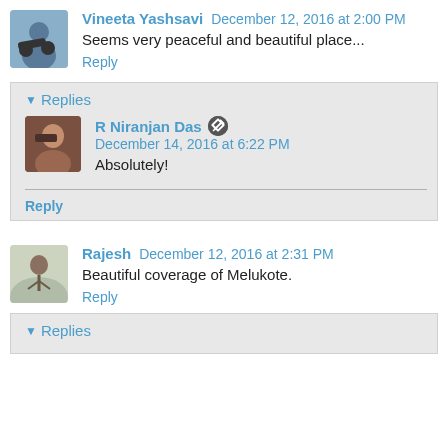[Figure (photo): Avatar of Vineeta Yashsavi — person on motorcycle]
Vineeta Yashsavi December 12, 2016 at 2:00 PM
Seems very peaceful and beautiful place...
Reply
Replies
[Figure (photo): Avatar of R Niranjan Das]
R Niranjan Das December 14, 2016 at 6:22 PM
Absolutely!
Reply
[Figure (photo): Avatar of Rajesh — person standing in desert]
Rajesh December 12, 2016 at 2:31 PM
Beautiful coverage of Melukote.
Reply
Replies